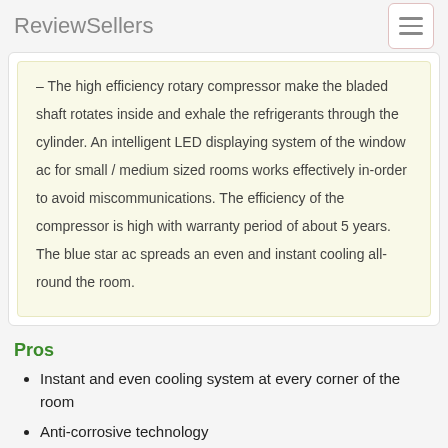ReviewSellers
– The high efficiency rotary compressor make the bladed shaft rotates inside and exhale the refrigerants through the cylinder. An intelligent LED displaying system of the window ac for small / medium sized rooms works effectively in-order to avoid miscommunications. The efficiency of the compressor is high with warranty period of about 5 years. The blue star ac spreads an even and instant cooling all-round the room.
Pros
Instant and even cooling system at every corner of the room
Anti-corrosive technology
Comfortable cooling nature